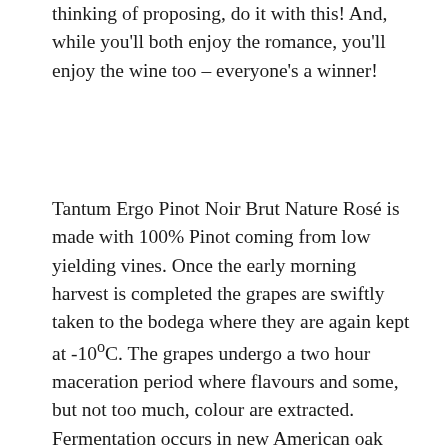thinking of proposing, do it with this! And, while you'll both enjoy the romance, you'll enjoy the wine too – everyone's a winner!
Tantum Ergo Pinot Noir Brut Nature Rosé is made with 100% Pinot coming from low yielding vines. Once the early morning harvest is completed the grapes are swiftly taken to the bodega where they are again kept at -10ºC. The grapes undergo a two hour maceration period where flavours and some, but not too much, colour are extracted. Fermentation occurs in new American oak and the wine is then left with its lees for further development and, ultimately more complexity in the finished